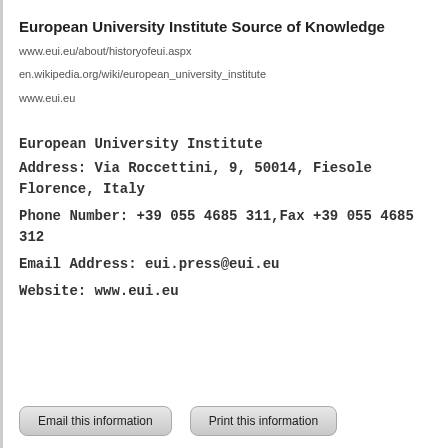European University Institute Source of Knowledge
www.eui.eu/about/historyofeui.aspx
en.wikipedia.org/wiki/european_university_institute
www.eui.eu
European University Institute
Address: Via Roccettini, 9, 50014, Fiesole Florence, Italy
Phone Number: +39 055 4685 311,Fax +39 055 4685 312
Email Address: eui.press@eui.eu
Website: www.eui.eu